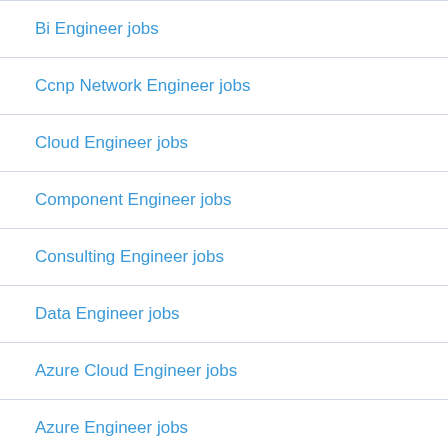Bi Engineer jobs
Ccnp Network Engineer jobs
Cloud Engineer jobs
Component Engineer jobs
Consulting Engineer jobs
Data Engineer jobs
Azure Cloud Engineer jobs
Azure Engineer jobs